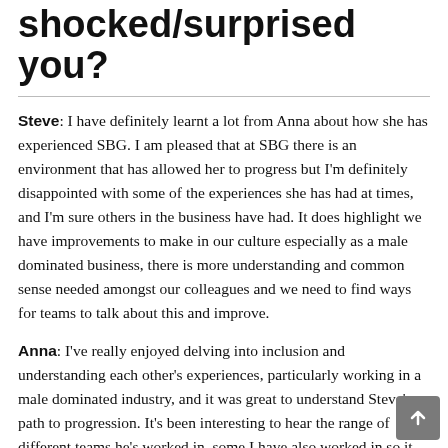shocked/surprised you?
Steve: I have definitely learnt a lot from Anna about how she has experienced SBG. I am pleased that at SBG there is an environment that has allowed her to progress but I'm definitely disappointed with some of the experiences she has had at times, and I'm sure others in the business have had. It does highlight we have improvements to make in our culture especially as a male dominated business, there is more understanding and common sense needed amongst our colleagues and we need to find ways for teams to talk about this and improve.
Anna: I've really enjoyed delving into inclusion and understanding each other's experiences, particularly working in a male dominated industry, and it was great to understand Steve's path to progression. It's been interesting to hear the range of different teams he's worked in, some I have also worked in so it was nice to relate and share experiences. In terms of what shocked me, Steve modestly claimed he was a very average cyclist, and after the charity cycling sportive I'd...